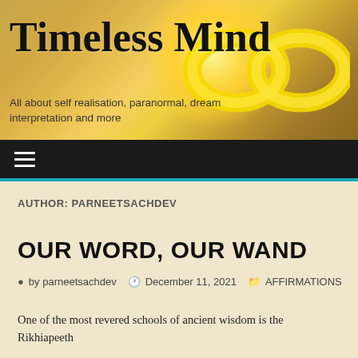[Figure (illustration): Website header banner with golden/warm background, sun rays, yellow infinity symbol, site title 'Timeless Mind' and tagline]
Timeless Mind
All about self realisation, paranormal, dream interpretation and more
Navigation bar with hamburger menu icon
AUTHOR: PARNEETSACHDEV
OUR WORD, OUR WAND
by parneetsachdev   December 11, 2021   AFFIRMATIONS
One of the most revered schools of ancient wisdom is the Rikhiapeeth